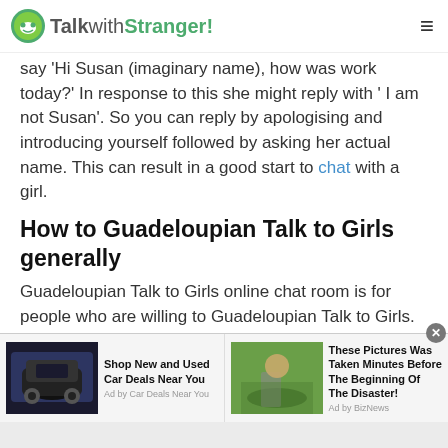TalkwithStranger!
say 'Hi Susan (imaginary name), how was work today?' In response to this she might reply with ' I am not Susan'. So you can reply by apologising and introducing yourself followed by asking her actual name. This can result in a good start to chat with a girl.
How to Guadeloupian Talk to Girls generally
Guadeloupian Talk to Girls online chat room is for people who are willing to Guadeloupian Talk to Girls. You can find millions of girls in this online chat room. Hook up with a girl and get to chat with her. It can be a girl-to-girl talk or a boy-to-girl talk. Talking to girls is fun. Girls look for
[Figure (screenshot): Advertisement bar with two ad items: 1) Car image with text 'Shop New and Used Car Deals Near You' by Car Deals Near You. 2) Outdoor photo with text 'These Pictures Was Taken Minutes Before The Beginning Of The Disaster!' by BizNews.]